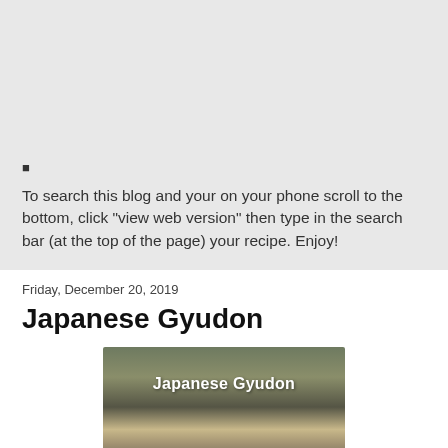■
To search this blog and your on your phone scroll to the bottom, click "view web version" then type in the search bar (at the top of the page) your recipe. Enjoy!
Friday, December 20, 2019
Japanese Gyudon
[Figure (photo): A plate of Japanese Gyudon (beef rice bowl) dish with text overlay reading 'Japanese Gyudon']